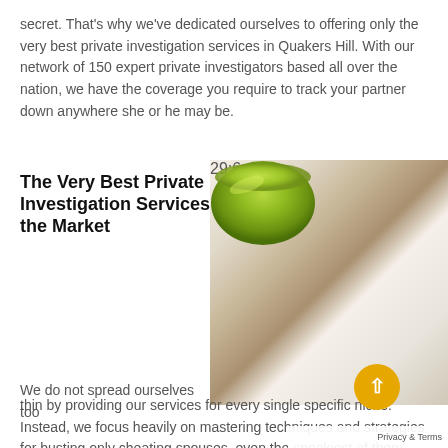secret. That's why we've dedicated ourselves to offering only the very best private investigation services in Quakers Hill. With our network of 150 expert private investigators based all over the nation, we have the coverage you require to track your partner down anywhere she or he may be.
The Very Best Private Investigation Services in the Market
[Figure (photo): Photo of a person's hand touching a smartphone screen, with a green bowl in the background. The phone is a gold-colored iPhone-style device with a vivid lock screen.]
We do not spread ourselves too thin by providing our services for every single specific niche. Instead, we focus heavily on mastering techniques and strategies for busting only cheating spouses, even the sneakiest of them. Our private investigators have actually